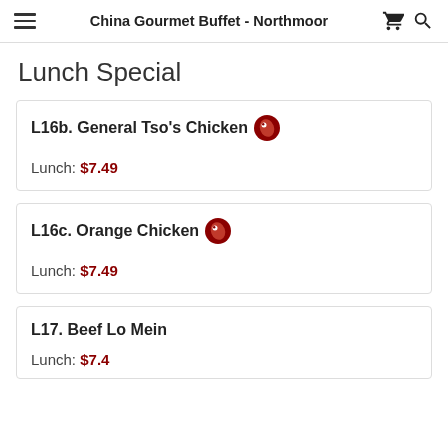China Gourmet Buffet - Northmoor
Lunch Special
L16b. General Tso's Chicken — Lunch: $7.49
L16c. Orange Chicken — Lunch: $7.49
L17. Beef Lo Mein